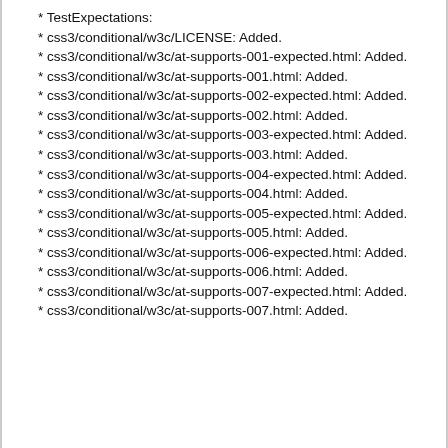* TestExpectations:
* css3/conditional/w3c/LICENSE: Added.
* css3/conditional/w3c/at-supports-001-expected.html: Added.
* css3/conditional/w3c/at-supports-001.html: Added.
* css3/conditional/w3c/at-supports-002-expected.html: Added.
* css3/conditional/w3c/at-supports-002.html: Added.
* css3/conditional/w3c/at-supports-003-expected.html: Added.
* css3/conditional/w3c/at-supports-003.html: Added.
* css3/conditional/w3c/at-supports-004-expected.html: Added.
* css3/conditional/w3c/at-supports-004.html: Added.
* css3/conditional/w3c/at-supports-005-expected.html: Added.
* css3/conditional/w3c/at-supports-005.html: Added.
* css3/conditional/w3c/at-supports-006-expected.html: Added.
* css3/conditional/w3c/at-supports-006.html: Added.
* css3/conditional/w3c/at-supports-007-expected.html: Added.
* css3/conditional/w3c/at-supports-007.html: Added.